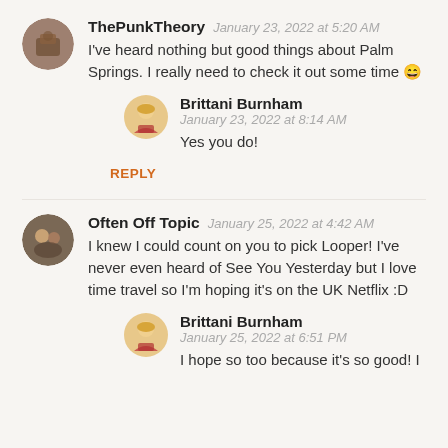ThePunkTheory  January 23, 2022 at 5:20 AM
I've heard nothing but good things about Palm Springs. I really need to check it out some time 😄
Brittani Burnham
January 23, 2022 at 8:14 AM
Yes you do!
REPLY
Often Off Topic  January 25, 2022 at 4:42 AM
I knew I could count on you to pick Looper! I've never even heard of See You Yesterday but I love time travel so I'm hoping it's on the UK Netflix :D
Brittani Burnham
January 25, 2022 at 6:51 PM
I hope so too because it's so good! I